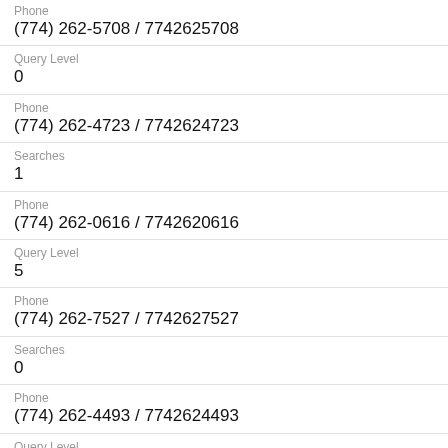Phone
(774) 262-5708 / 7742625708
Query Level
0
Phone
(774) 262-4723 / 7742624723
Searches
1
Phone
(774) 262-0616 / 7742620616
Query Level
5
Phone
(774) 262-7527 / 7742627527
Searches
0
Phone
(774) 262-4493 / 7742624493
Query Level